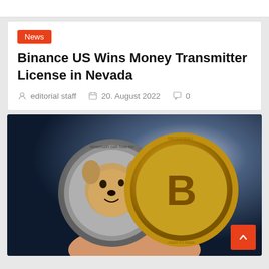News
Binance US Wins Money Transmitter License in Nevada
editorial staff   20. August 2022   0
[Figure (photo): A hand holding two cryptocurrency coins — a Dogecoin (silver coin with Shiba Inu dog face) and a Bitcoin (gold coin with B symbol) — against a dark blue background.]